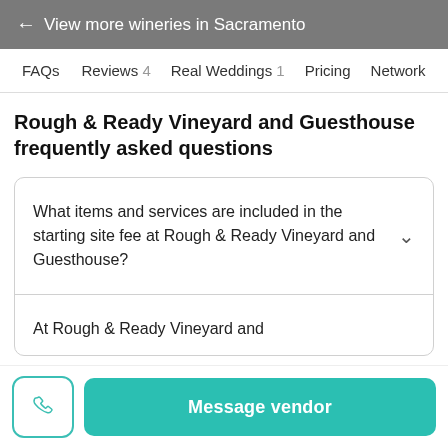← View more wineries in Sacramento
FAQs   Reviews 4   Real Weddings 1   Pricing   Network
Rough & Ready Vineyard and Guesthouse frequently asked questions
What items and services are included in the starting site fee at Rough & Ready Vineyard and Guesthouse?
At Rough & Ready Vineyard and
Message vendor